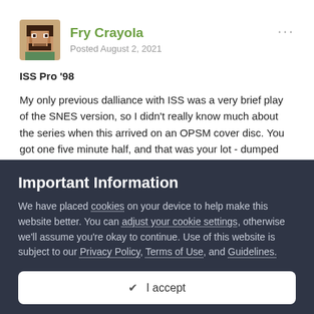[Figure (photo): Pixel art avatar of a person with beard, brown tones, small square image]
Fry Crayola
Posted August 2, 2021
ISS Pro '98
My only previous dalliance with ISS was a very brief play of the SNES version, so I didn't really know much about the series when this arrived on an OPSM cover disc. You got one five minute half, and that was your lot - dumped back to the menu. But crucially, the demo offered a two-player mode, and so my brother and I
Important Information
We have placed cookies on your device to help make this website better. You can adjust your cookie settings, otherwise we'll assume you're okay to continue. Use of this website is subject to our Privacy Policy, Terms of Use, and Guidelines.
✔ I accept